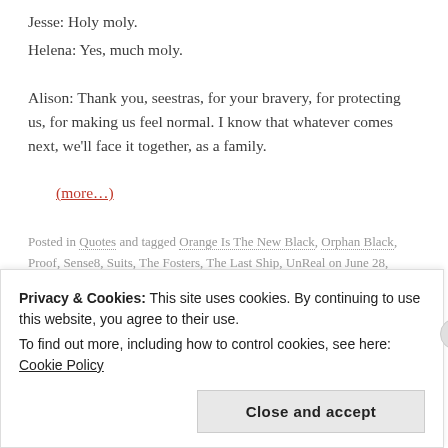Jesse: Holy moly.
Helena: Yes, much moly.
Alison: Thank you, seestras, for your bravery, for protecting us, for making us feel normal. I know that whatever comes next, we'll face it together, as a family.
(more…)
Posted in Quotes and tagged Orange Is The New Black, Orphan Black, Proof, Sense8, Suits, The Fosters, The Last Ship, UnReal on June 28, 2015. Leave a comment
Privacy & Cookies: This site uses cookies. By continuing to use this website, you agree to their use. To find out more, including how to control cookies, see here: Cookie Policy
Close and accept